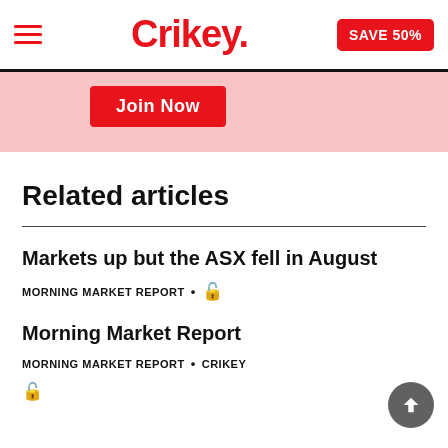Crikey. | SAVE 50%
[Figure (other): Pink promotional banner with a red 'Join Now' button]
Related articles
Markets up but the ASX fell in August
MORNING MARKET REPORT • 🔓
Morning Market Report
MORNING MARKET REPORT • CRIKEY 🔓